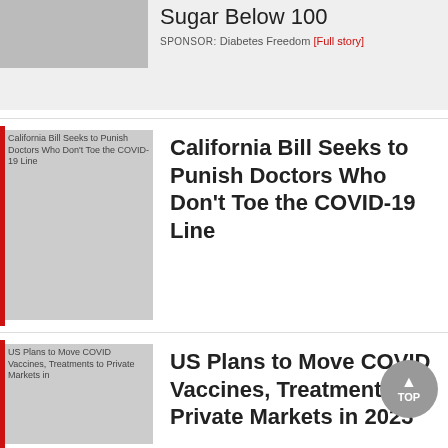Sugar Below 100
SPONSOR: Diabetes Freedom [Full story]
[Figure (photo): Thumbnail image for California Bill article]
California Bill Seeks to Punish Doctors Who Don't Toe the COVID-19 Line
[Figure (photo): Thumbnail image for US Plans COVID Vaccines article]
US Plans to Move COVID Vaccines, Treatments to Private Markets in 2023